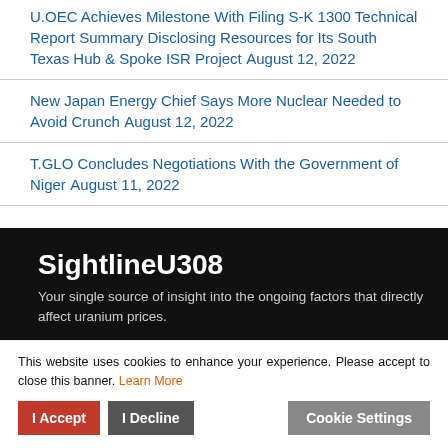U.OEC Achieves Milestone With Filing S-K 1300 Technical Report Summary Disclosing Resources for Its South Texas Hub & Spoke ISR Project August 12, 2022
New Japan Energy Chief Says More Nuclear Needed to Avoid Crunch August 12, 2022
T.GLO Concludes Negotiations With the Government of Niger August 11, 2022
[Figure (other): Dark banner with brand name SightlineU308, tagline text about uranium prices, and welcome message for questions and comments.]
This website uses cookies to enhance your experience. Please accept to close this banner. Learn More
I Accept | I Decline | Cookie Settings